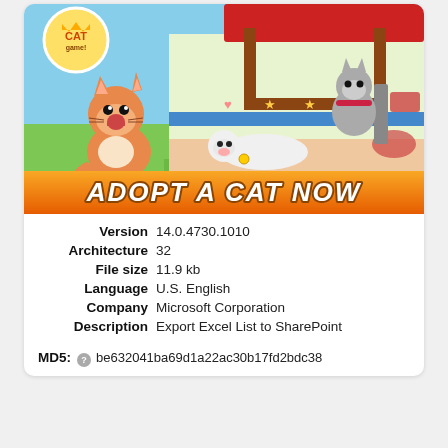[Figure (illustration): Cat Game app screenshot showing cartoon cats and 'ADOPT A CAT NOW' banner with orange/yellow gradient background. A logo with crown and 'CAT game!' text appears top left. Cartoon orange cat on left, white cat lying down in middle, gray cat on right inside a room. Green grass and blue sky background.]
| Version | 14.0.4730.1010 |
| Architecture | 32 |
| File size | 11.9 kb |
| Language | U.S. English |
| Company | Microsoft Corporation |
| Description | Export Excel List to SharePoint |
MD5: be632041ba69d1a22ac30b17fd2bdc38